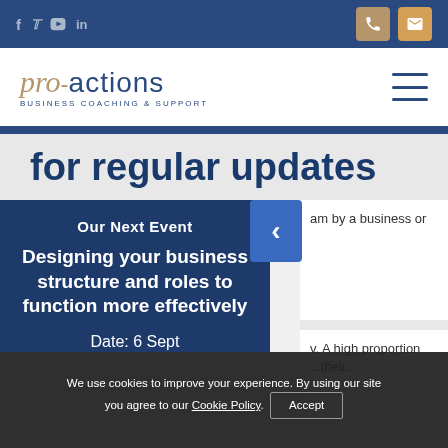Social icons: f, twitter, youtube, in | Phone and email action buttons
[Figure (logo): Pro-actions Business Coaching & Support logo]
for regular updates
Our Next Event
Designing your business structure and roles to function more effectively
Date: 6 Sept
Location: Online
am by a business or
v. A high proportion ...their...
We use cookies to improve your experience. By using our site you agree to our Cookie Policy. Accept